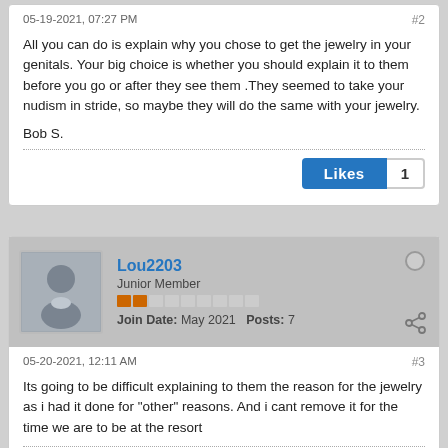05-19-2021, 07:27 PM   #2
All you can do is explain why you chose to get the jewelry in your genitals. Your big choice is whether you should explain it to them before you go or after they see them .They seemed to take your nudism in stride, so maybe they will do the same with your jewelry.
Bob S.
Likes  1
Lou2203
Junior Member
Join Date: May 2021   Posts: 7
[Figure (other): Share icon (network share symbol)]
05-20-2021, 12:11 AM   #3
Its going to be difficult explaining to them the reason for the jewelry as i had it done for "other" reasons. And i cant remove it for the time we are to be at the resort